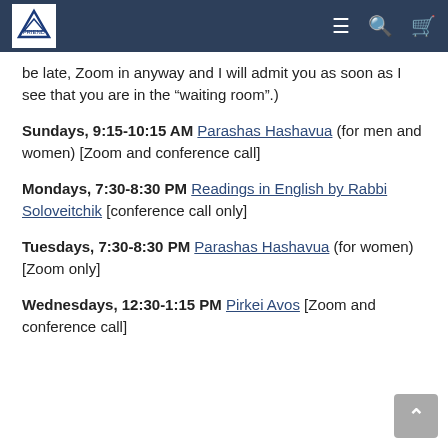Friend of Israel navigation header
be late, Zoom in anyway and I will admit you as soon as I see that you are in the “waiting room”.)
Sundays, 9:15-10:15 AM Parashas Hashavua (for men and women) [Zoom and conference call]
Mondays, 7:30-8:30 PM Readings in English by Rabbi Soloveitchik [conference call only]
Tuesdays, 7:30-8:30 PM Parashas Hashavua (for women) [Zoom only]
Wednesdays, 12:30-1:15 PM Pirkei Avos [Zoom and conference call]